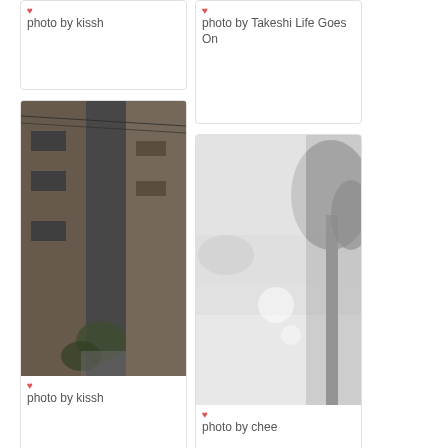[Figure (photo): Card with photo credit text only visible, partially cropped at top - photo by kissh]
photo by kissh
[Figure (photo): Card with photo credit - photo by Takeshi Life Goes On]
photo by Takeshi Life Goes On
[Figure (photo): Photo of a narrow Japanese alley/street between buildings with plants, dark tones]
photo by kissh
[Figure (photo): Misty/foggy outdoor photo with tree silhouette against bright sky]
photo by chee
[Figure (photo): Partially visible faded card at bottom left]